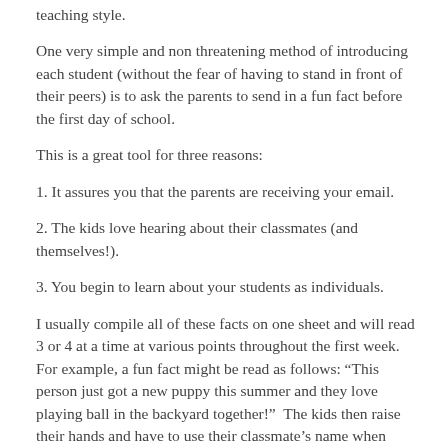teaching style.
One very simple and non threatening method of introducing each student (without the fear of having to stand in front of their peers) is to ask the parents to send in a fun fact before the first day of school.
This is a great tool for three reasons:
1. It assures you that the parents are receiving your email.
2. The kids love hearing about their classmates (and themselves!).
3. You begin to learn about your students as individuals.
I usually compile all of these facts on one sheet and will read 3 or 4 at a time at various points throughout the first week.  For example, a fun fact might be read as follows: “This person just got a new puppy this summer and they love playing ball in the backyard together!”  The kids then raise their hands and have to use their classmate’s name when guessing.  “Is it Sarah?  I think it is Michael!” When the person is revealed I typically follow up with one or two other simple questions if they choose to share more.  “What